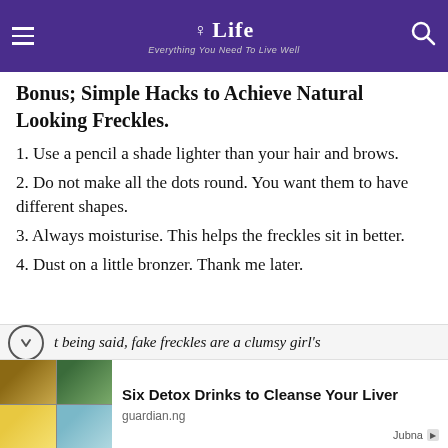Life — Everything You Need To Live Well
Bonus; Simple Hacks to Achieve Natural Looking Freckles.
1. Use a pencil a shade lighter than your hair and brows.
2. Do not make all the dots round. You want them to have different shapes.
3. Always moisturise. This helps the freckles sit in better.
4. Dust on a little bronzer. Thank me later.
t being said, fake freckles are a clumsy girl's
[Figure (photo): Four-panel image grid showing various detox drinks and teas with lemon and herbs]
Six Detox Drinks to Cleanse Your Liver
guardian.ng